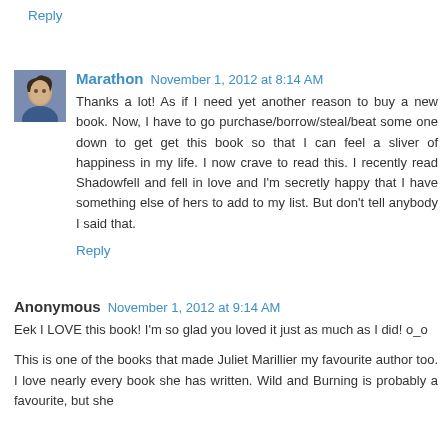Reply
Marathon  November 1, 2012 at 8:14 AM
Thanks a lot! As if I need yet another reason to buy a new book. Now, I have to go purchase/borrow/steal/beat some one down to get get this book so that I can feel a sliver of happiness in my life. I now crave to read this. I recently read Shadowfell and fell in love and I'm secretly happy that I have something else of hers to add to my list. But don't tell anybody I said that.
Reply
Anonymous  November 1, 2012 at 9:14 AM
Eek I LOVE this book! I'm so glad you loved it just as much as I did! o_o
This is one of the books that made Juliet Marillier my favourite author too. I love nearly every book she has written. Wild and Burning is probably a favourite, but she